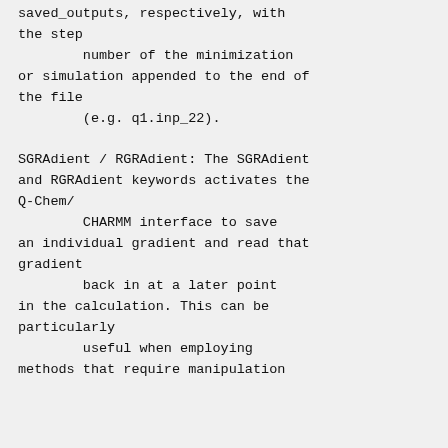saved_outputs, respectively, with the step
        number of the minimization or simulation appended to the end of the file
        (e.g. q1.inp_22).

SGRAdient / RGRAdient: The SGRAdient and RGRAdient keywords activates the Q-Chem/
        CHARMM interface to save an individual gradient and read that gradient
        back in at a later point in the calculation. This can be particularly
        useful when employing methods that require manipulation